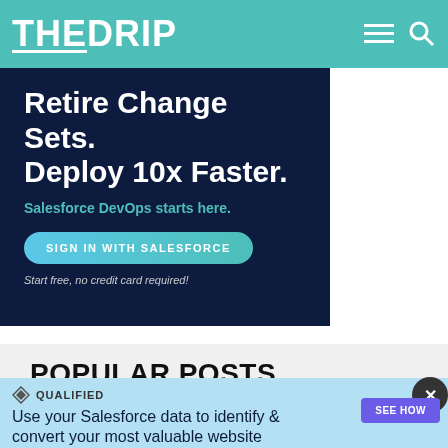THE DRIP
[Figure (screenshot): Dark navy advertisement banner: 'Retire Change Sets. Deploy 10x Faster. Salesforce DevOps starts here.' with a teal 'SIGN IN WITH SALESFORCE' button and 'Start free, no credit card required!' text]
POPULAR POSTS
[Figure (screenshot): Qualified ad banner with light blue background showing diamond logo, 'QUALIFIED' label, text 'Use your Salesforce data to identify & convert your most valuable website visitors', a person photo, and purple 'SEE HOW' button]